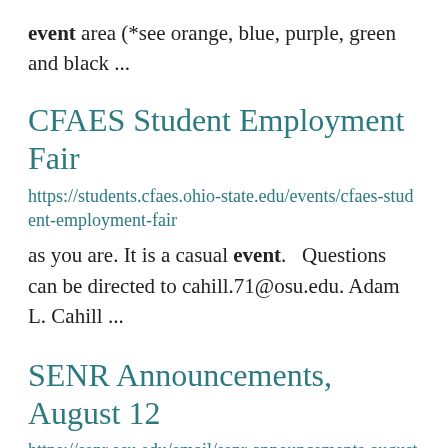event area (*see orange, blue, purple, green and black ...
CFAES Student Employment Fair
https://students.cfaes.ohio-state.edu/events/cfaes-student-employment-fair
as you are. It is a casual event.   Questions can be directed to cahill.71@osu.edu. Adam L. Cahill ...
SENR Announcements, August 12
https://senr.osu.edu/email/senr-announcements-august-12
Resilience amid End of Coal in Ohio at the Hopkins Hall Hybrid Arts Space is available by Next Frontier: SENR...